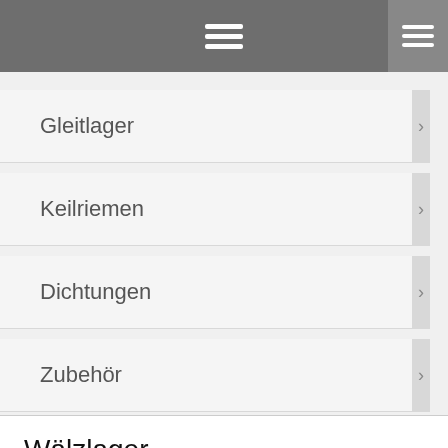Navigation menu with hamburger icons
Gleitlager
Keilriemen
Dichtungen
Zubehör
Wälzlager
Kugellager (radial)
Rillenkugellager
Schrägkugellager/ Spindellager
Spannlager/ Gehäuselager